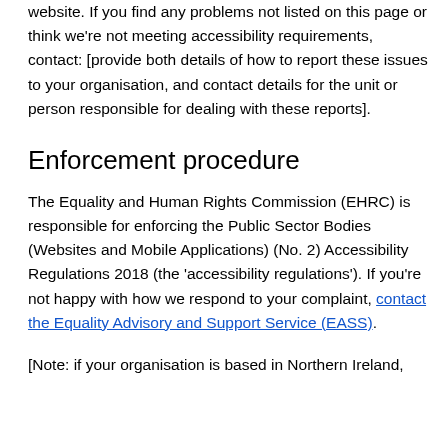website. If you find any problems not listed on this page or think we're not meeting accessibility requirements, contact: [provide both details of how to report these issues to your organisation, and contact details for the unit or person responsible for dealing with these reports].
Enforcement procedure
The Equality and Human Rights Commission (EHRC) is responsible for enforcing the Public Sector Bodies (Websites and Mobile Applications) (No. 2) Accessibility Regulations 2018 (the 'accessibility regulations'). If you're not happy with how we respond to your complaint, contact the Equality Advisory and Support Service (EASS).
[Note: if your organisation is based in Northern Ireland,